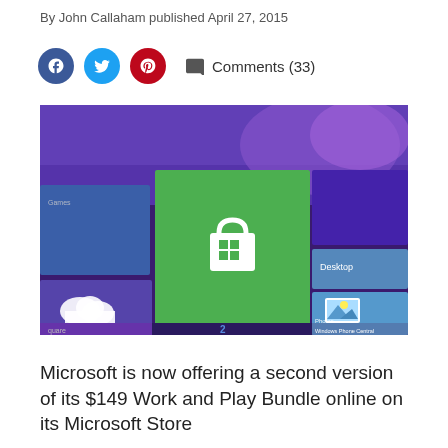By John Callaham published April 27, 2015
Comments (33)
[Figure (photo): Windows 8 Start screen showing colorful tiles including a large green Windows Store tile with shopping bag icon, OneDrive cloud tile, Desktop tile, Photos tile, and partial tiles. Watermark reads 'Windows Phone Central'.]
Microsoft is now offering a second version of its $149 Work and Play Bundle online on its Microsoft Store